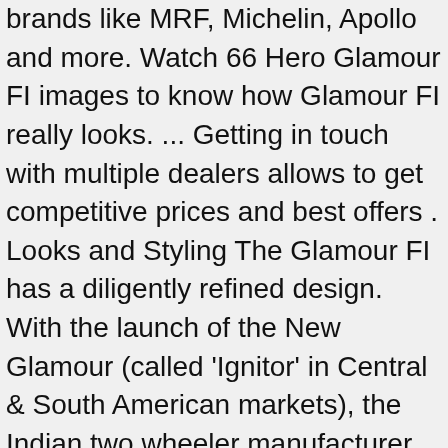brands like MRF, Michelin, Apollo and more. Watch 66 Hero Glamour FI images to know how Glamour FI really looks. ... Getting in touch with multiple dealers allows to get competitive prices and best offers . Looks and Styling The Glamour FI has a diligently refined design. With the launch of the New Glamour (called 'Ignitor' in Central & South American markets), the Indian two wheeler manufacturer now has a presence in 35 countries. Get contact details and address | ID: 14935769273 So, why not define your individuality even further with Hero Genuine Accessories. the hero honda glamour has received a series of upgrades to keep it up with today s ... Price: INR 60800. Used Hero Cd Deluxe Price As per Orange Book Value (OBV) used Hero Cd Deluxe bike price starts from ₹20,772. It is available in 4 variants and 5 colours. Hero Glamour Programmed FI ex-showroom price in Chhindwara is ₹ 69,913 and the on road price of Self Start Disc Brake Alloy Wheel is ₹ 73,488 . 6. If your primary purpose is commuting and mileage is important, hero motorcycles are better. Glamor Fi is the first chance when Honda is offering its fuel injection technology on low-end bikes.